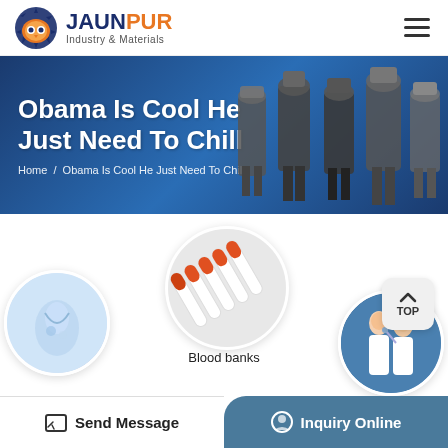JAUNPUR Industry & Materials
Obama Is Cool He Just Need To Chill
Home / Obama Is Cool He Just Need To Chill
[Figure (illustration): Industrial mixing tanks/reactors lined up on blue background]
[Figure (photo): Circular photo of blood bank collection tubes with orange tops]
Blood banks
[Figure (photo): Circular photo of laboratory/medical glassware]
[Figure (photo): Circular photo of two female scientists in lab coats looking at samples]
Send Message  |  Inquiry Online